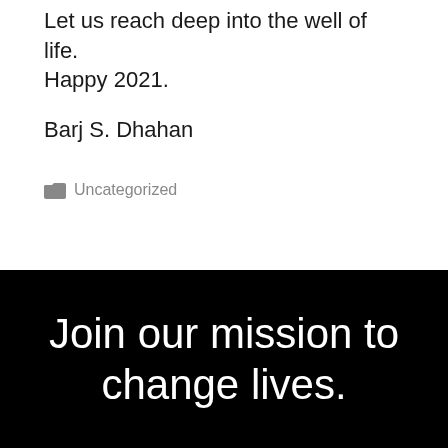Let us reach deep into the well of life. Happy 2021.
Barj S. Dhahan
Uncategorized
Join our mission to change lives.